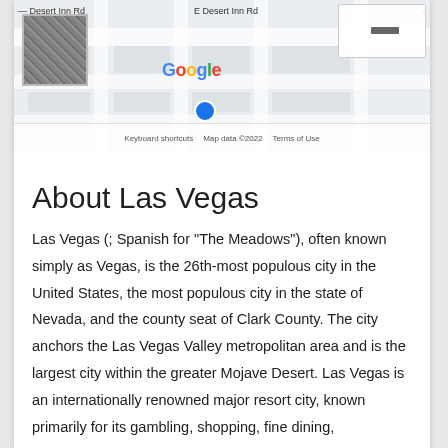[Figure (map): Google Maps screenshot showing E Desert Inn Rd area with satellite thumbnail, Google logo, keyboard shortcuts, map data 2022 copyright, and Terms of Use footer]
About Las Vegas
Las Vegas (; Spanish for "The Meadows"), often known simply as Vegas, is the 26th-most populous city in the United States, the most populous city in the state of Nevada, and the county seat of Clark County. The city anchors the Las Vegas Valley metropolitan area and is the largest city within the greater Mojave Desert. Las Vegas is an internationally renowned major resort city, known primarily for its gambling, shopping, fine dining, entertainment, and nightlife. The Las Vegas